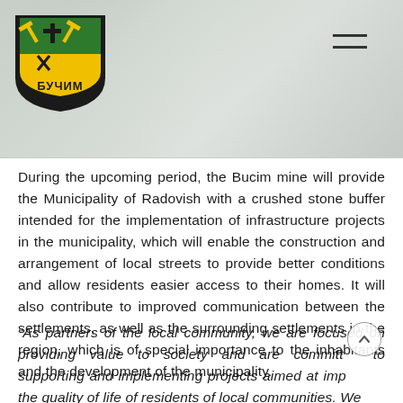[Figure (photo): Header banner with photo of people in background, Buchim mine logo (yellow hammer symbols on green/black shield with Cyrillic text БУЧИМ) in top left, and hamburger menu icon in top right]
During the upcoming period, the Bucim mine will provide the Municipality of Radovish with a crushed stone buffer intended for the implementation of infrastructure projects in the municipality, which will enable the construction and arrangement of local streets to provide better conditions and allow residents easier access to their homes. It will also contribute to improved communication between the settlements, as well as the surrounding settlements in the region, which is of special importance to the inhabitants and the development of the municipality.
“As partners of the local community, we are focused on providing value to society and are committed to supporting and implementing projects aimed at improving the quality of life of residents of local communities. We